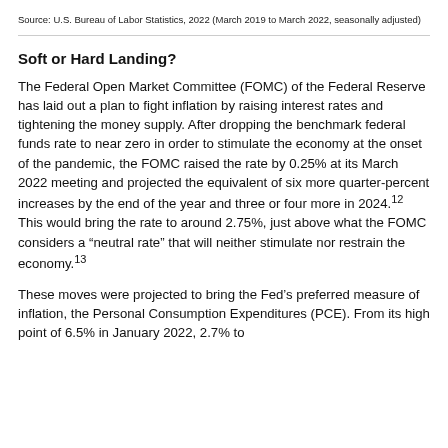Source: U.S. Bureau of Labor Statistics, 2022 (March 2019 to March 2022, seasonally adjusted)
Soft or Hard Landing?
The Federal Open Market Committee (FOMC) of the Federal Reserve has laid out a plan to fight inflation by raising interest rates and tightening the money supply. After dropping the benchmark federal funds rate to near zero in order to stimulate the economy at the onset of the pandemic, the FOMC raised the rate by 0.25% at its March 2022 meeting and projected the equivalent of six more quarter-percent increases by the end of the year and three or four more in 2024.12 This would bring the rate to around 2.75%, just above what the FOMC considers a “neutral rate” that will neither stimulate nor restrain the economy.13
These moves were projected to bring the Fed’s preferred measure of inflation, the Personal Consumption Expenditures (PCE). From its high point of 6.5% in January 2022, 2.7% to...